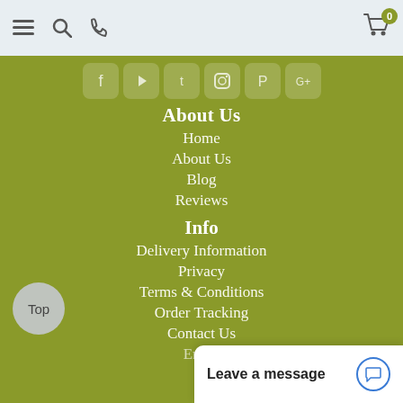Navigation bar with hamburger menu, search, phone icons and shopping cart with badge 0
[Figure (illustration): Social media icons row: Facebook, YouTube, Twitter, Instagram, Pinterest, Google+]
About Us
Home
About Us
Blog
Reviews
Info
Delivery Information
Privacy
Terms & Conditions
Order Tracking
Contact Us
Email
Leave a message